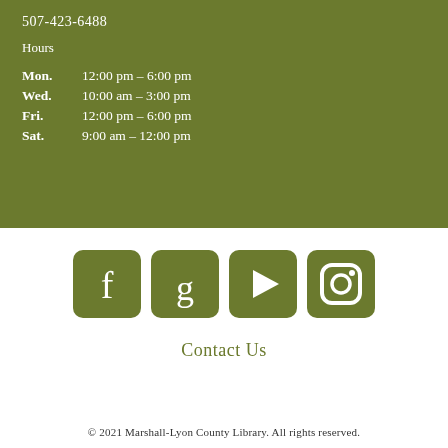507-423-6488
Hours
| Mon. | 12:00 pm – 6:00 pm |
| Wed. | 10:00 am – 3:00 pm |
| Fri. | 12:00 pm – 6:00 pm |
| Sat. | 9:00 am – 12:00 pm |
[Figure (infographic): Four social media icons in olive/green color: Facebook (f), Goodreads (g), YouTube (play button), Instagram (camera)]
Contact Us
© 2021 Marshall-Lyon County Library. All rights reserved.